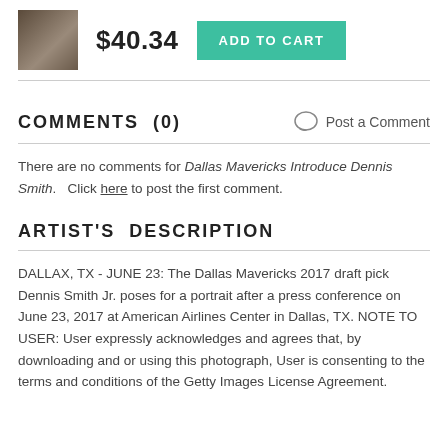[Figure (photo): Small product thumbnail photo of a person outdoors]
$40.34
ADD TO CART
COMMENTS  (0)
Post a Comment
There are no comments for Dallas Mavericks Introduce Dennis Smith.   Click here to post the first comment.
ARTIST'S  DESCRIPTION
DALLAX, TX - JUNE 23: The Dallas Mavericks 2017 draft pick Dennis Smith Jr. poses for a portrait after a press conference on June 23, 2017 at American Airlines Center in Dallas, TX. NOTE TO USER: User expressly acknowledges and agrees that, by downloading and or using this photograph, User is consenting to the terms and conditions of the Getty Images License Agreement.